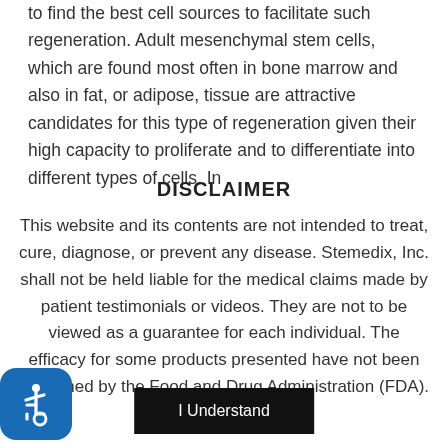to find the best cell sources to facilitate such regeneration. Adult mesenchymal stem cells, which are found most often in bone marrow and also in fat, or adipose, tissue are attractive candidates for this type of regeneration given their high capacity to proliferate and to differentiate into different types of cells. In
DISCLAIMER
This website and its contents are not intended to treat, cure, diagnose, or prevent any disease. Stemedix, Inc. shall not be held liable for the medical claims made by patient testimonials or videos. They are not to be viewed as a guarantee for each individual. The efficacy for some products presented have not been confirmed by the Food and Drug Administration (FDA).
[Figure (illustration): Blue rounded square accessibility icon with wheelchair symbol]